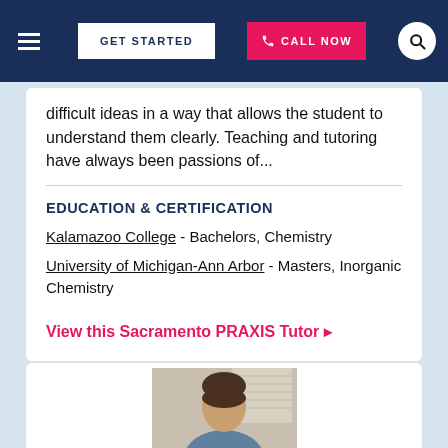GET STARTED | CALL NOW
difficult ideas in a way that allows the student to understand them clearly. Teaching and tutoring have always been passions of...
EDUCATION & CERTIFICATION
Kalamazoo College - Bachelors, Chemistry
University of Michigan-Ann Arbor - Masters, Inorganic Chemistry
View this Sacramento PRAXIS Tutor ▶
[Figure (photo): Portrait photo of a tutor, partially visible at the bottom of the page]